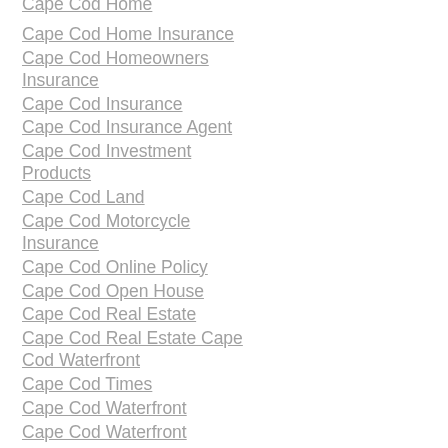Cape Cod Home
Cape Cod Home Insurance
Cape Cod Homeowners Insurance
Cape Cod Insurance
Cape Cod Insurance Agent
Cape Cod Investment Products
Cape Cod Land
Cape Cod Motorcycle Insurance
Cape Cod Online Policy
Cape Cod Open House
Cape Cod Real Estate
Cape Cod Real Estate Cape Cod Waterfront
Cape Cod Times
Cape Cod Waterfront
Cape Cod Waterfront